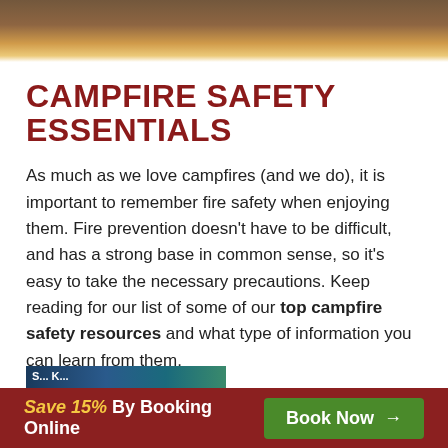[Figure (photo): Outdoor/nature hero image at top of page, showing warm autumn tones]
CAMPFIRE SAFETY ESSENTIALS
As much as we love campfires (and we do), it is important to remember fire safety when enjoying them. Fire prevention doesn't have to be difficult, and has a strong base in common sense, so it's easy to take the necessary precautions. Keep reading for our list of some of our top campfire safety resources and what type of information you can learn from them.
[Figure (screenshot): Partial preview image of a campfire safety resource page]
Save 15% By Booking Online  Book Now →